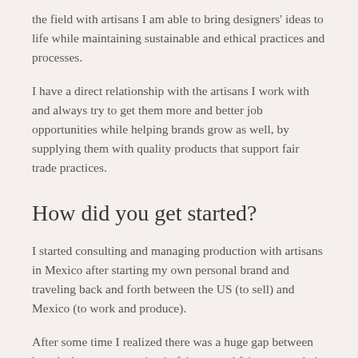the field with artisans I am able to bring designers' ideas to life while maintaining sustainable and ethical practices and processes.
I have a direct relationship with the artisans I work with and always try to get them more and better job opportunities while helping brands grow as well, by supplying them with quality products that support fair trade practices.
How did you get started?
I started consulting and managing production with artisans in Mexico after starting my own personal brand and traveling back and forth between the US (to sell) and Mexico (to work and produce).
After some time I realized there was a huge gap between brands that want to maintain fair pay and fair costs to their